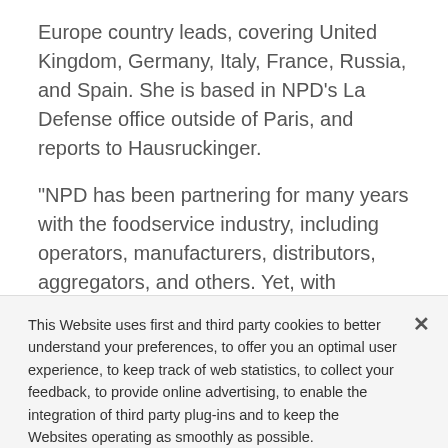Europe country leads, covering United Kingdom, Germany, Italy, France, Russia, and Spain. She is based in NPD's La Defense office outside of Paris, and reports to Hausruckinger.
“NPD has been partnering for many years with the foodservice industry, including operators, manufacturers, distributors, aggregators, and others. Yet, with consumers’ habits drastically changing, our
This Website uses first and third party cookies to better understand your preferences, to offer you an optimal user experience, to keep track of web statistics, to collect your feedback, to provide online advertising, to enable the integration of third party plug-ins and to keep the Websites operating as smoothly as possible.
Cookies Settings
Accept All Cookies